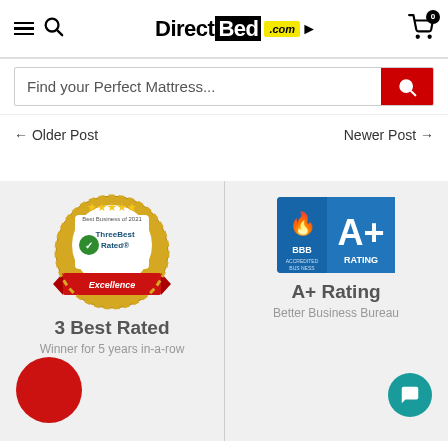[Figure (logo): DirectBed.com logo with hamburger menu, search icon, and cart icon in header]
Find your Perfect Mattress...
← Older Post
Newer Post →
[Figure (logo): Three Best Rated – Best Business of 2021 Excellence badge/seal]
3 Best Rated
Winner for 5 years in-a-row
[Figure (logo): BBB Accredited Business A+ Rating badge]
A+ Rating
Better Business Bureau